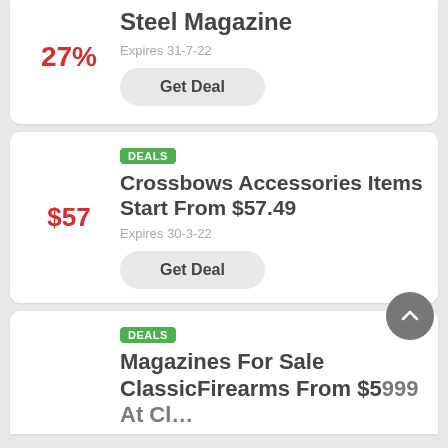27%
Steel Magazine
Expires 31-7-22
Get Deal
DEALS
$57
Crossbows Accessories Items Start From $57.49
Expires 30-3-22
Get Deal
DEALS
Magazines For Sale ClassicFirearms From $5999 At Cl...